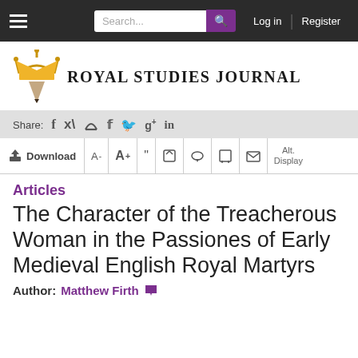[Figure (screenshot): Navigation bar with hamburger menu, search box, and Log in / Register links on dark background]
[Figure (logo): Royal Studies Journal logo with crown and downward-pointing triangle/pencil icon in gold and tan]
[Figure (infographic): Share bar with social icons: Facebook, Twitter, Google+, LinkedIn]
[Figure (infographic): Article toolbar with Download, A-, A+, quote, edit, comment, print, email, and Alt. Display icons]
Articles
The Character of the Treacherous Woman in the Passiones of Early Medieval English Royal Martyrs
Author: Matthew Firth